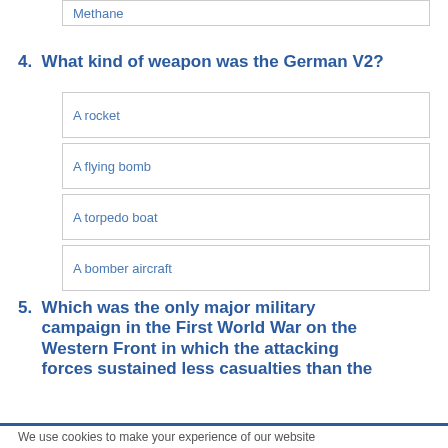Methane
4.  What kind of weapon was the German V2?
A rocket
A flying bomb
A torpedo boat
A bomber aircraft
5.  Which was the only major military campaign in the First World War on the Western Front in which the attacking forces sustained less casualties than the
We use cookies to make your experience of our website